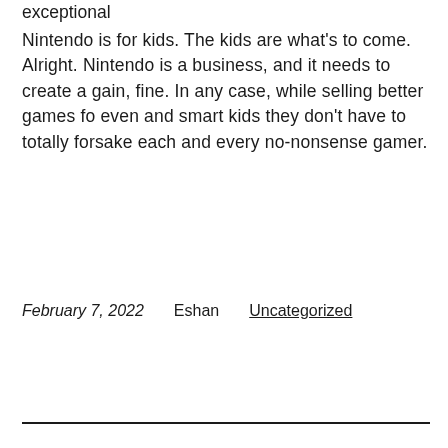exceptional
Nintendo is for kids. The kids are what's to come. Alright. Nintendo is a business, and it needs to create a gain, fine. In any case, while selling better games fo even and smart kids they don't have to totally forsake each and every no-nonsense gamer.
February 7, 2022    Eshan    Uncategorized